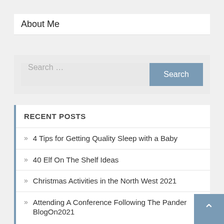About Me
Search ...
RECENT POSTS
4 Tips for Getting Quality Sleep with a Baby
40 Elf On The Shelf Ideas
Christmas Activities in the North West 2021
Attending A Conference Following The Pander BlogOn2021